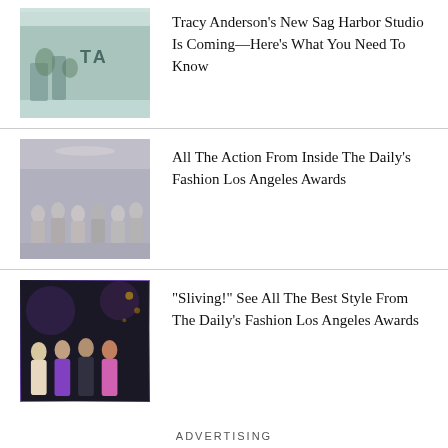[Figure (photo): Interior of Tracy Anderson studio with plants and minimalist decor, letters 'TA' visible on wall]
Tracy Anderson's New Sag Harbor Studio Is Coming—Here's What You Need To Know
[Figure (photo): Audience seated at fashion awards event, rows of attendees in elegant setting]
All The Action From Inside The Daily's Fashion Los Angeles Awards
[Figure (photo): Four women posing in colorful fashion outfits at awards event against dark background]
“Sliving!” See All The Best Style From The Daily’s Fashion Los Angeles Awards
ADVERTISING